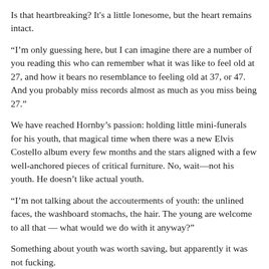Is that heartbreaking? It's a little lonesome, but the heart remains intact.
“I’m only guessing here, but I can imagine there are a number of you reading this who can remember what it was like to feel old at 27, and how it bears no resemblance to feeling old at 37, or 47. And you probably miss records almost as much as you miss being 27.”
We have reached Hornby’s passion: holding little mini-funerals for his youth, that magical time when there was a new Elvis Costello album every few months and the stars aligned with a few well-anchored pieces of critical furniture. No, wait—not his youth. He doesn’t like actual youth.
“I’m not talking about the accouterments of youth: the unlined faces, the washboard stomachs, the hair. The young are welcome to all that — what would we do with it anyway?”
Something about youth was worth saving, but apparently it was not fucking.
“I’m talking about the energy, the wistful yearning, the inexplicable exhilaration, the sporadic sense of invincibility, the hope that stings like chlorine.”